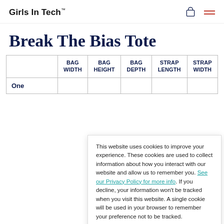Girls In Tech™
Break The Bias Tote
|  | BAG WIDTH | BAG HEIGHT | BAG DEPTH | STRAP LENGTH | STRAP WIDTH |
| --- | --- | --- | --- | --- | --- |
| One |  |  |  |  |  |
This website uses cookies to improve your experience. These cookies are used to collect information about how you interact with our website and allow us to remember you. See our Privacy Policy for more info. If you decline, your information won't be tracked when you visit this website. A single cookie will be used in your browser to remember your preference not to be tracked.